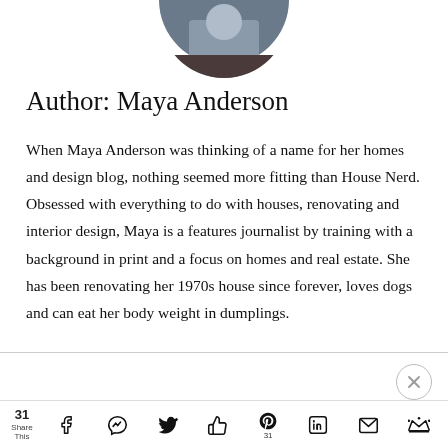[Figure (photo): Circular cropped author photo showing a person on a couch/dark background]
Author: Maya Anderson
When Maya Anderson was thinking of a name for her homes and design blog, nothing seemed more fitting than House Nerd. Obsessed with everything to do with houses, renovating and interior design, Maya is a features journalist by training with a background in print and a focus on homes and real estate. She has been renovating her 1970s house since forever, loves dogs and can eat her body weight in dumplings.
31 Share This [social share icons: Facebook, Messenger, Twitter, Like, Pinterest 31, LinkedIn, Email, Crown]